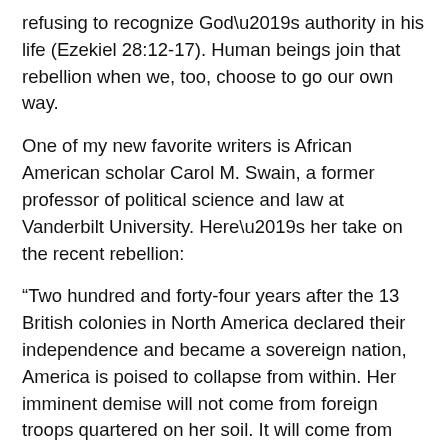refusing to recognize God's authority in his life (Ezekiel 28:12-17). Human beings join that rebellion when we, too, choose to go our own way.
One of my new favorite writers is African American scholar Carol M. Swain, a former professor of political science and law at Vanderbilt University. Here's her take on the recent rebellion:
“Two hundred and forty-four years after the 13 British colonies in North America declared their independence and became a sovereign nation, America is poised to collapse from within. Her imminent demise will not come from foreign troops quartered on her soil. It will come from Marxists and anarchists who use racial grievance and the cries of the oppressed to dismantle America’s institutions and defenses.”
“Insurrection labeled as “peaceful protest” is the battering ram weakening our nation’s foundations. Using the voices of the oppressed to dismantle their institutions…